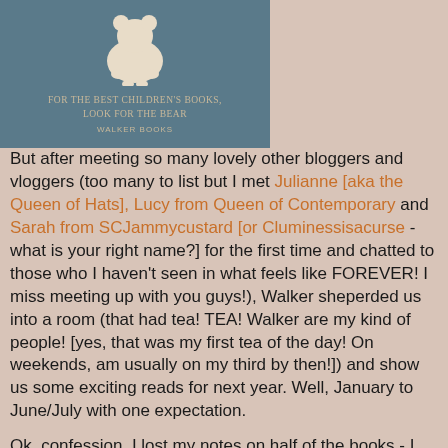[Figure (photo): A blue tote bag from Walker Books with a white bear silhouette and text 'FOR THE BEST CHILDREN'S BOOKS, LOOK FOR THE BEAR' and 'WALKER BOOKS' at the bottom]
But after meeting so many lovely other bloggers and vloggers (too many to list but I met Julianne [aka the Queen of Hats], Lucy from Queen of Contemporary and Sarah from SCJammycustard [or Cluminessisacurse - what is your right name?] for the first time and chatted to those who I haven't seen in what feels like FOREVER! I miss meeting up with you guys!), Walker sheperded us into a room (that had tea! TEA! Walker are my kind of people! [yes, that was my first tea of the day! On weekends, am usually on my third by then!]) and show us some exciting reads for next year. Well, January to June/July with one expectation.
Ok, confession. I lost my notes on half of the books - I had them then I got my second cup of tea when we had a break and they went walkies. So, you will have to bear with me. And because there are FAR TOO MANY BOOKS, am going